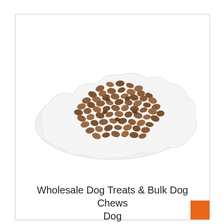[Figure (photo): A white decorative plate with scalloped edges holding a large pile of brown dog treats/kibble pieces, photographed on a white background.]
Wholesale Dog Treats & Bulk Dog Chews Dog